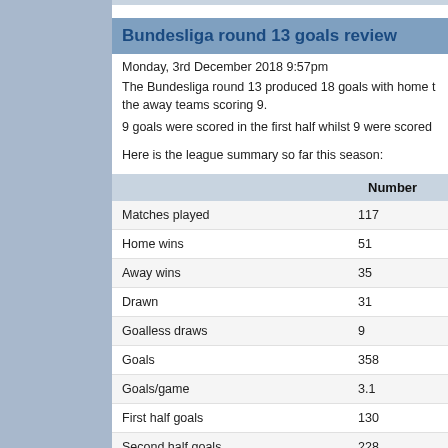Bundesliga round 13 goals review
Monday, 3rd December 2018 9:57pm
The Bundesliga round 13 produced 18 goals with home teams scoring 9 and the away teams scoring 9.
9 goals were scored in the first half whilst 9 were scored in the second half.
Here is the league summary so far this season:
|  | Number |
| --- | --- |
| Matches played | 117 |
| Home wins | 51 |
| Away wins | 35 |
| Drawn | 31 |
| Goalless draws | 9 |
| Goals | 358 |
| Goals/game | 3.1 |
| First half goals | 130 |
| Second half goals | 228 |
| Home team goals | 201 |
| Away team goals | 157 |